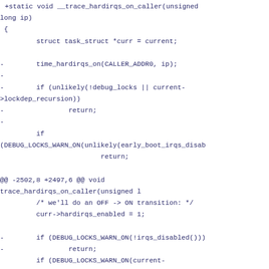+static void __trace_hardirqs_on_caller(unsigned long ip)
 {
         struct task_struct *curr = current;

 -        time_hardirqs_on(CALLER_ADDR0, ip);
 -
 -        if (unlikely(!debug_locks || current->lockdep_recursion))
 -                return;
 -
         if (DEBUG_LOCKS_WARN_ON(unlikely(early_boot_irqs_disab
                         return;

 @@ -2502,8 +2497,6 @@ void trace_hardirqs_on_caller(unsigned l
         /* we'll do an OFF -> ON transition: */
         curr->hardirqs_enabled = 1;

 -        if (DEBUG_LOCKS_WARN_ON(!irqs_disabled()))
 -                return;
         if (DEBUG_LOCKS_WARN_ON(current->hardirq_context))
                 return;
         /*
 @@ -2525,6 +2518,21 @@ void trace_hardirqs_on_caller(unsigned l
         curr->hardirq_enable_event = ++curr->irq_events;